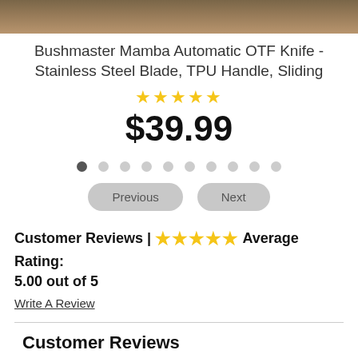[Figure (photo): Top portion of a product image showing a wooden surface background for the knife product]
Bushmaster Mamba Automatic OTF Knife - Stainless Steel Blade, TPU Handle, Sliding
★★★★★ (5 stars)
$39.99
[Figure (other): Carousel dot indicators with 10 dots, first one dark/active, rest light gray, with Previous and Next navigation buttons]
Customer Reviews | ★★★★★ Average Rating: 5.00 out of 5
Write A Review
Customer Reviews